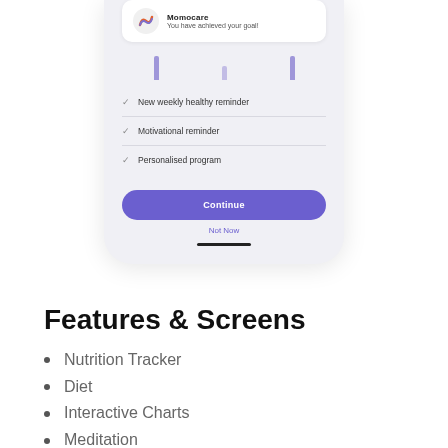[Figure (screenshot): Mobile app screenshot showing Momocare notification 'You have achieved your goal!', bar chart elements, checklist with 'New weekly healthy reminder', 'Motivational reminder', 'Personalised program', a 'Continue' button, and 'Not Now' link]
Features & Screens
Nutrition Tracker
Diet
Interactive Charts
Meditation
Community & Social Network